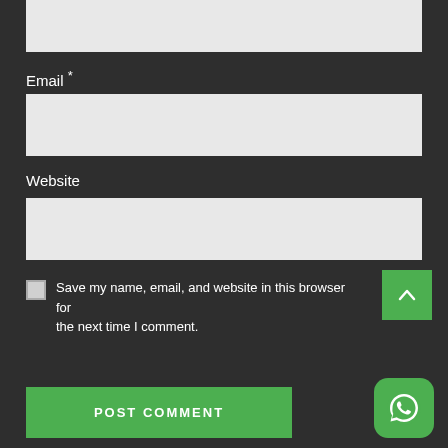[Figure (screenshot): Top portion of a comment form showing a partially visible grey input text area at the top of the page]
Email *
[Figure (screenshot): Empty grey text input field for Email]
Website
[Figure (screenshot): Empty grey text input field for Website]
Save my name, email, and website in this browser for the next time I comment.
[Figure (screenshot): Green scroll-up arrow button in top-right area]
[Figure (screenshot): Green POST COMMENT button at bottom left]
[Figure (logo): WhatsApp icon button in bottom right corner]